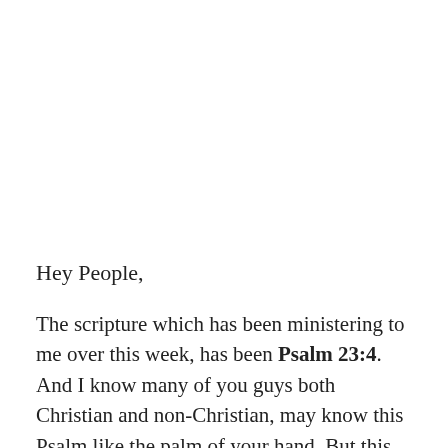Hey People,
The scripture which has been ministering to me over this week, has been Psalm 23:4. And I know many of you guys both Christian and non-Christian, may know this Psalm like the palm of your hand. But this time round when I was reading Psalm 23, it was like a penny dropped for me. Many individuals can say this